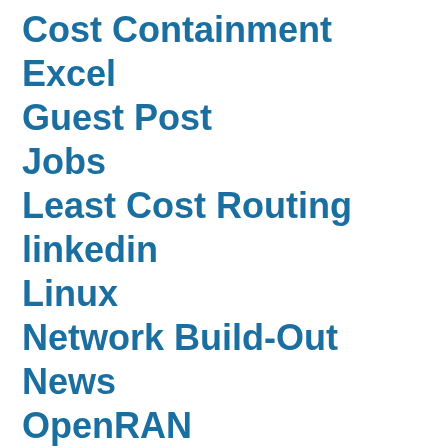Cost Containment
Excel
Guest Post
Jobs
Least Cost Routing
linkedin
Linux
Network Build-Out
News
OpenRAN
Operations